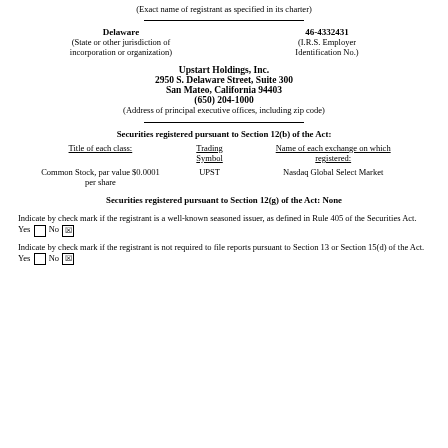(Exact name of registrant as specified in its charter)
Delaware
(State or other jurisdiction of incorporation or organization)

46-4332431
(I.R.S. Employer Identification No.)
Upstart Holdings, Inc.
2950 S. Delaware Street, Suite 300
San Mateo, California 94403
(650) 204-1000
(Address of principal executive offices, including zip code)
| Title of each class: | Trading Symbol | Name of each exchange on which registered: |
| --- | --- | --- |
| Common Stock, par value $0.0001 per share | UPST | Nasdaq Global Select Market |
Securities registered pursuant to Section 12(g) of the Act: None
Indicate by check mark if the registrant is a well-known seasoned issuer, as defined in Rule 405 of the Securities Act. Yes □ No ☒
Indicate by check mark if the registrant is not required to file reports pursuant to Section 13 or Section 15(d) of the Act. Yes □ No ☒